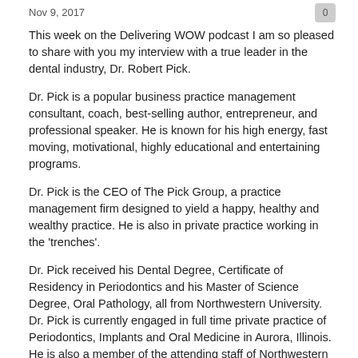Nov 9, 2017
This week on the Delivering WOW podcast I am so pleased to share with you my interview with a true leader in the dental industry, Dr. Robert Pick.
Dr. Pick is a popular business practice management consultant, coach, best-selling author, entrepreneur, and professional speaker. He is known for his high energy, fast moving, motivational, highly educational and entertaining programs.
Dr. Pick is the CEO of The Pick Group, a practice management firm designed to yield a happy, healthy and wealthy practice. He is also in private practice working in the 'trenches'.
Dr. Pick received his Dental Degree, Certificate of Residency in Periodontics and his Master of Science Degree, Oral Pathology, all from Northwestern University. Dr. Pick is currently engaged in full time private practice of Periodontics, Implants and Oral Medicine in Aurora, Illinois. He is also a member of the attending staff of Northwestern Memorial Hospital and a Clinical Associate Professor of Surgery at the Northwestern University's Medical School. Dr. Pick has also been involved with the Jack Welch Business Management Institute.
Dr. Pick is recognized by Dentistry Today as one of the top 200 Leaders in Continuing Education and has won this honor all 19 years that the award has been given. He is also on the Advisory Board of the Journal, Dentist's Money Digest, where he also writes a monthly article. Dr. Pick has presented